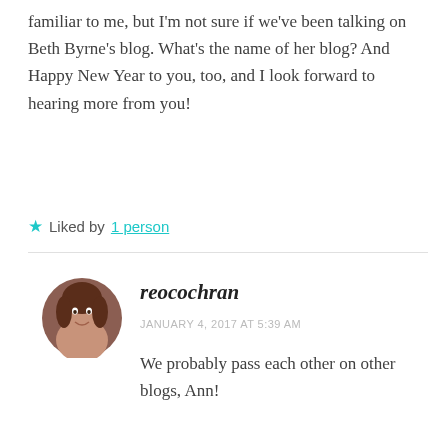familiar to me, but I'm not sure if we've been talking on Beth Byrne's blog. What's the name of her blog? And Happy New Year to you, too, and I look forward to hearing more from you!
★ Liked by 1 person
reocochran
JANUARY 4, 2017 AT 5:39 AM
We probably pass each other on other blogs, Ann!